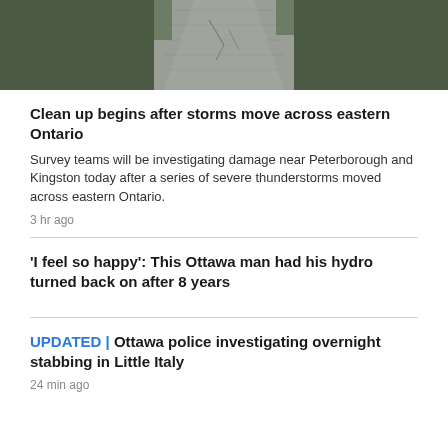[Figure (photo): Aerial or ground-level photo of a road/pavement after storms, dark green vegetation on sides, road surface visible in center]
Clean up begins after storms move across eastern Ontario
Survey teams will be investigating damage near Peterborough and Kingston today after a series of severe thunderstorms moved across eastern Ontario.
3 hr ago
'I feel so happy': This Ottawa man had his hydro turned back on after 8 years
UPDATED | Ottawa police investigating overnight stabbing in Little Italy
24 min ago